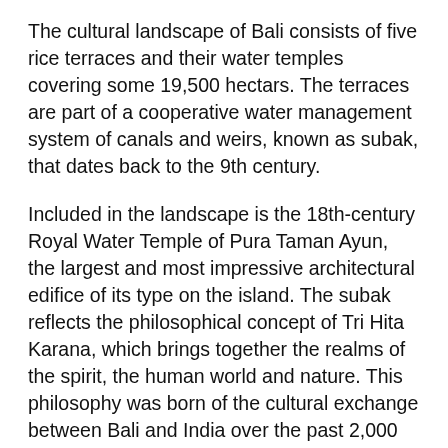The cultural landscape of Bali consists of five rice terraces and their water temples covering some 19,500 hectars. The terraces are part of a cooperative water management system of canals and weirs, known as subak, that dates back to the 9th century.
Included in the landscape is the 18th-century Royal Water Temple of Pura Taman Ayun, the largest and most impressive architectural edifice of its type on the island. The subak reflects the philosophical concept of Tri Hita Karana, which brings together the realms of the spirit, the human world and nature. This philosophy was born of the cultural exchange between Bali and India over the past 2,000 years and has shaped the landscape of Bali.
The subak system of democratic and egalitarian